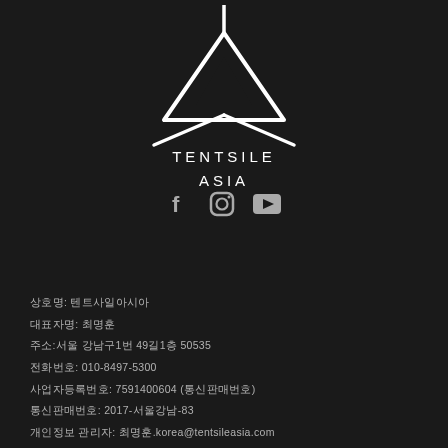[Figure (logo): Tentsile Asia logo: white triangular tent/treehouse shape with three legs extending outward, above the text TENTSILE ASIA]
TENTSILE
ASIA
[Figure (other): Social media icons: Facebook (f), Instagram (camera), YouTube (play button)]
상호명: 텐트사일아시아
대표자명: 최명훈
주소:서울 강남구1번 49길1층 50535
전화번호: 010-8497-5300
사업자등록번호: 7591400604 (통신판매번호)
통신판매번호: 2017-서울강남-83
개인정보 관리자: 최명훈.korea@tentsileasia.com